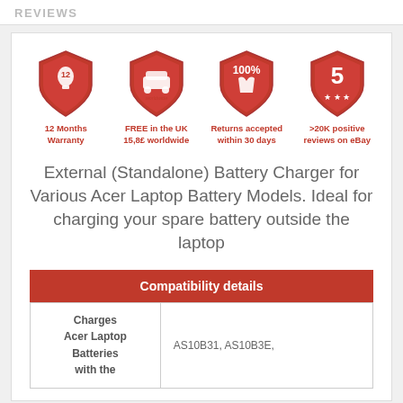REVIEWS
[Figure (infographic): Four red shield badges showing: 12 Months Warranty, FREE in the UK 15,8£ worldwide, Returns accepted within 30 days, >20K positive reviews on eBay]
External (Standalone) Battery Charger for Various Acer Laptop Battery Models. Ideal for charging your spare battery outside the laptop
| Compatibility details |
| --- |
| Charges Acer Laptop Batteries with the | AS10B31, AS10B3E, |